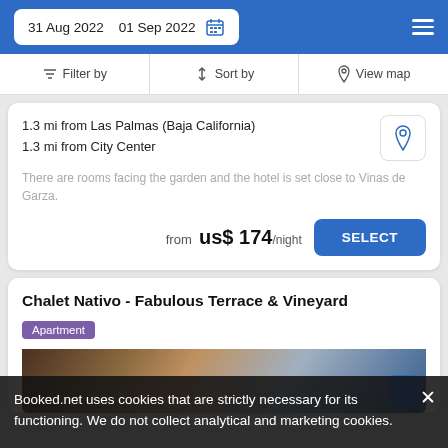31 Aug 2022  01 Sep 2022
Filter by  Sort by  View map
1.3 mi from Las Palmas (Baja California)
1.3 mi from City Center
There are rooms facing the garden and the hotel is set close to Vinas de Garza.
from  us$ 174/night
Chalet Nativo - Fabulous Terrace & Vineyard
Apartment
[Figure (photo): Hotel exterior photo cropped at bottom]
Booked.net uses cookies that are strictly necessary for its functioning. We do not collect analytical and marketing cookies.